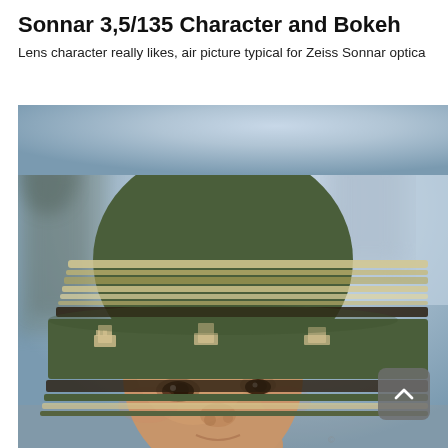Sonnar 3,5/135 Character and Bokeh
Lens character really likes, air picture typical for Zeiss Sonnar optica
[Figure (photo): Close-up photograph of a young child wearing a green knitted beanie hat with striped and patterned bands. The child is looking upward. The background is blurred (bokeh effect) showing light blue and grey tones, typical of Zeiss Sonnar optics rendering.]